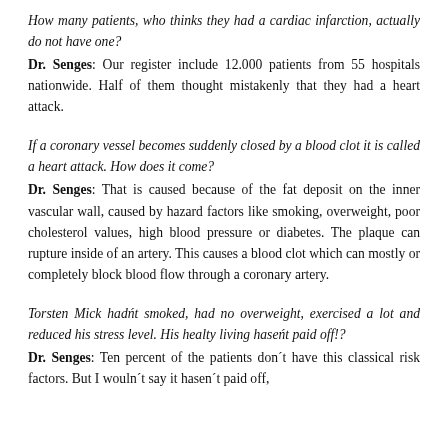How many patients, who thinks they had a cardiac infarction, actually do not have one?
Dr. Senges: Our register include 12.000 patients from 55 hospitals nationwide. Half of them thought mistakenly that they had a heart attack.
If a coronary vessel becomes suddenly closed by a blood clot it is called a heart attack. How does it come?
Dr. Senges: That is caused because of the fat deposit on the inner vascular wall, caused by hazard factors like smoking, overweight, poor cholesterol values, high blood pressure or diabetes. The plaque can rupture inside of an artery. This causes a blood clot which can mostly or completely block blood flow through a coronary artery.
Torsten Mick hadńt smoked, had no overweight, exercised a lot and reduced his stress level. His healty living haseńt paid off!?
Dr. Senges: Ten percent of the patients don´t have this classical risk factors. But I wouln´t say it hasen´t paid off,